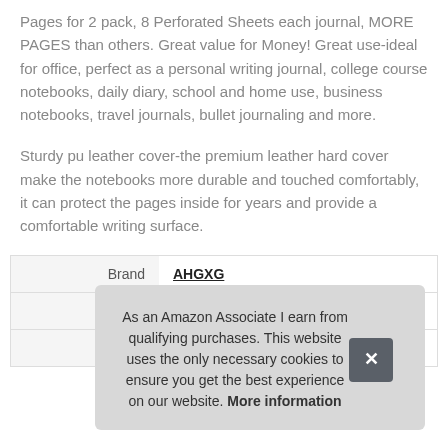Pages for 2 pack, 8 Perforated Sheets each journal, MORE PAGES than others. Great value for Money! Great use-ideal for office, perfect as a personal writing journal, college course notebooks, daily diary, school and home use, business notebooks, travel journals, bullet journaling and more.
Sturdy pu leather cover-the premium leather hard cover make the notebooks more durable and touched comfortably, it can protect the pages inside for years and provide a comfortable writing surface.
|  |  |
| --- | --- |
| Brand | AHGXG |
| Ma |  |
| P |  |
As an Amazon Associate I earn from qualifying purchases. This website uses the only necessary cookies to ensure you get the best experience on our website. More information